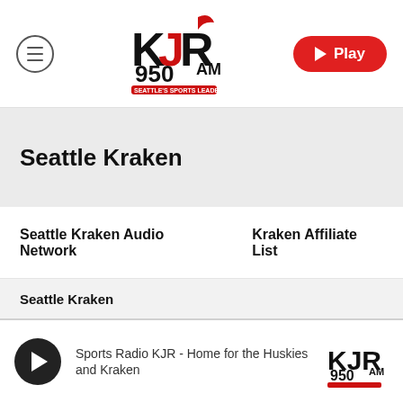[Figure (logo): KJR 950 AM Seattle's Sports Leader logo in red and black]
[Figure (other): Hamburger menu icon inside circle]
[Figure (other): Red Play button]
Seattle Kraken
Seattle Kraken Audio Network
Kraken Affiliate List
Seattle Kraken
Sports Radio KJR - Home for the Huskies and Kraken
[Figure (logo): KJR 950 AM small logo in player bar]